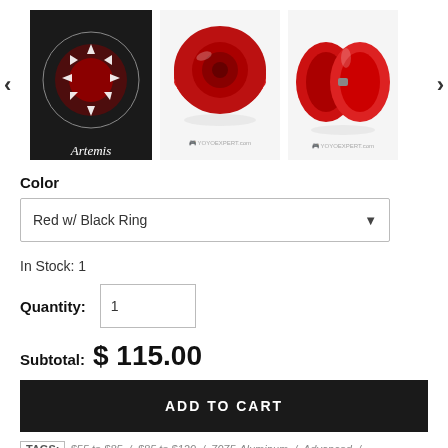[Figure (photo): Three product images of an Artemis yoyo: first image shows the Artemis logo on a dark background, second and third images show red metallic yoyo from different angles (top and side views) with YoyoExpert.com watermark]
Color
Red w/ Black Ring
In Stock: 1
Quantity: 1
Subtotal: $ 115.00
ADD TO CART
TAGS: $55 to $85 / $85 to $120 / 7075-Aluminum / Advanced /
Bimetal / Metal / String Tricks (1A) / Unresponsive / Unspoken /